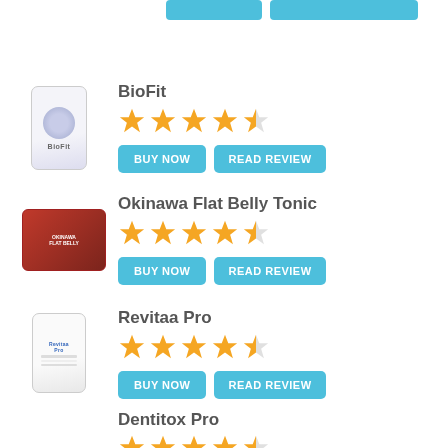[Figure (illustration): Partial top buttons for a product listing (cut off at top of page)]
BioFit
[Figure (illustration): 4.5 star rating in orange stars for BioFit]
[Figure (photo): BioFit supplement bottle image]
BUY NOW
READ REVIEW
Okinawa Flat Belly Tonic
[Figure (illustration): 4.5 star rating in orange stars for Okinawa Flat Belly Tonic]
[Figure (photo): Okinawa Flat Belly Tonic product image]
BUY NOW
READ REVIEW
Revitaa Pro
[Figure (illustration): 4.5 star rating in orange stars for Revitaa Pro]
[Figure (photo): Revitaa Pro supplement bottle image]
BUY NOW
READ REVIEW
Dentitox Pro
[Figure (illustration): 4.5 star rating in orange stars for Dentitox Pro (partially visible)]